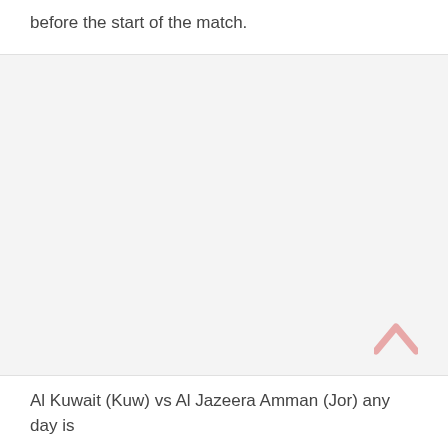before the start of the match.
Al Kuwait (Kuw) vs Al Jazeera Amman (Jor) any day is